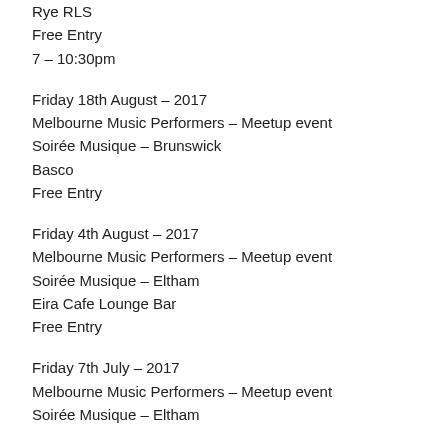Rye RLS
Free Entry
7 – 10:30pm
Friday 18th August – 2017
Melbourne Music Performers – Meetup event
Soirée Musique – Brunswick
Basco
Free Entry
Friday 4th August – 2017
Melbourne Music Performers – Meetup event
Soirée Musique – Eltham
Eira Cafe Lounge Bar
Free Entry
Friday 7th July – 2017
Melbourne Music Performers – Meetup event
Soirée Musique – Eltham